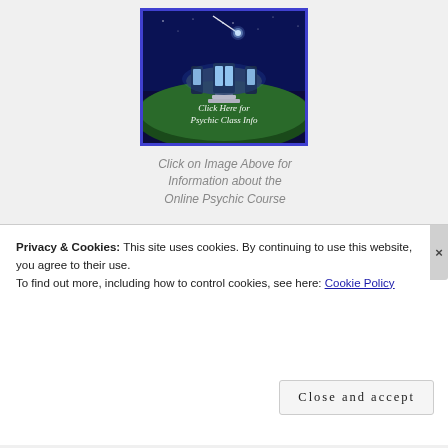[Figure (illustration): Mystical nighttime scene showing a glowing circular building/temple on a hill with steps leading up to it, a comet or shooting star in the blue sky above. Text overlay reads 'Click Here for Psychic Class Info'. Framed with a blue border.]
Click on Image Above for Information about the Online Psychic Course
Privacy & Cookies: This site uses cookies. By continuing to use this website, you agree to their use.
To find out more, including how to control cookies, see here: Cookie Policy
Close and accept